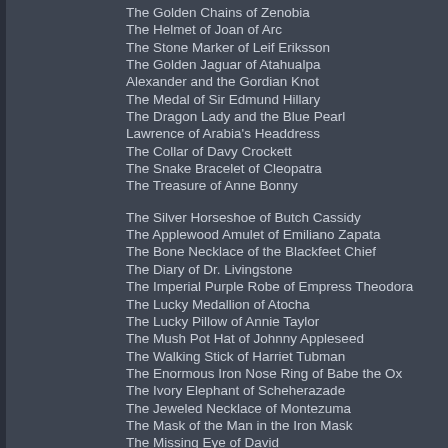The Golden Chains of Zenobia
The Helmet of Joan of Arc
The Stone Marker of Leif Eriksson
The Golden Jaguar of Atahualpa
Alexander and the Gordian Knot
The Medal of Sir Edmund Hillary
The Dragon Lady and the Blue Pearl
Lawrence of Arabia's Headdress
The Collar of Davy Crockett
The Snake Bracelet of Cleopatra
The Treasure of Anne Bonny
The Silver Horseshoe of Butch Cassidy
The Applewood Amulet of Emiliano Zapata
The Bone Necklace of the Blackfeet Chief
The Diary of Dr. Livingstone
The Imperial Purple Robe of Empress Theodora
The Lucky Medallion of Atocha
The Lucky Pillow of Annie Taylor
The Mush Pot Hat of Johnny Appleseed
The Walking Stick of Harriet Tubman
The Enormous Iron Nose Ring of Babe the Ox
The Ivory Elephant of Scheherazade
The Jeweled Necklace of Montezuma
The Mask of the Man in the Iron Mask
The Missing Eye of David
The Two-Cornered Hat of Napoleon
The Very Tall Turban of Ahmed Baba